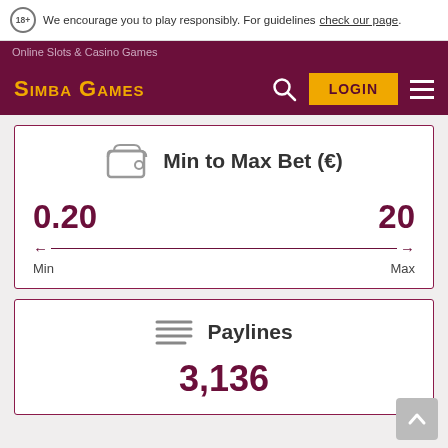18+ We encourage you to play responsibly. For guidelines check our page.
Online Slots & Casino Games
Simba Games
[Figure (infographic): Min to Max Bet (€) slider card showing 0.20 min and 20 max with arrow range indicator]
[Figure (infographic): Paylines card showing 3,136 paylines with lines icon]